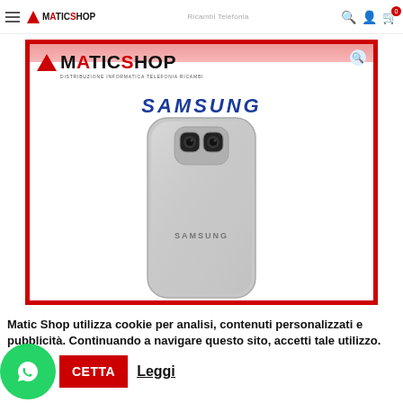Home | Ricambi Telefonia | Back Cover | Matic Shop
[Figure (screenshot): Matic Shop product page showing Samsung back cover (silver) phone replacement part. The image shows the rear of a Samsung Galaxy smartphone with silver finish, dual-lens camera area at top, and SAMSUNG branding in the center.]
Matic Shop utilizza cookie per analisi, contenuti personalizzati e pubblicità. Continuando a navigare questo sito, accetti tale utilizzo.
ACCETTA   Leggi